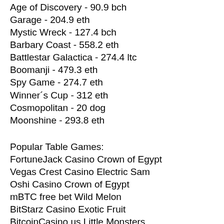Age of Discovery - 90.9 bch
Garage - 204.9 eth
Mystic Wreck - 127.4 bch
Barbary Coast - 558.2 eth
Battlestar Galactica - 274.4 ltc
Boomanji - 479.3 eth
Spy Game - 274.7 eth
Winner´s Cup - 312 eth
Cosmopolitan - 20 dog
Moonshine - 293.8 eth
Popular Table Games:
FortuneJack Casino Crown of Egypt
Vegas Crest Casino Electric Sam
Oshi Casino Crown of Egypt
mBTC free bet Wild Melon
BitStarz Casino Exotic Fruit
BitcoinCasino.us Little Monsters
Bitcasino.io All Aboard
Betcoin.ag Casino Apollo
Syndicate Casino Big Cash Win